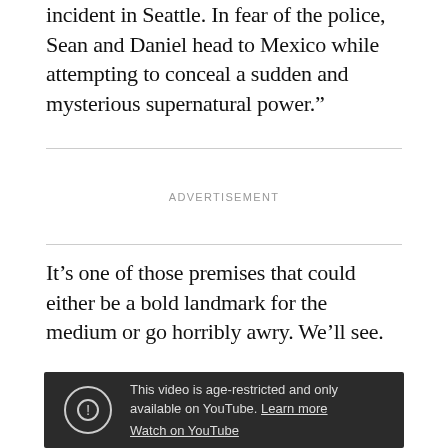incident in Seattle. In fear of the police, Sean and Daniel head to Mexico while attempting to conceal a sudden and mysterious supernatural power.”
ADVERTISEMENT
It’s one of those premises that could either be a bold landmark for the medium or go horribly awry. We’ll see.
[Figure (screenshot): Embedded YouTube video player showing an age-restricted message: 'This video is age-restricted and only available on YouTube. Learn more' and 'Watch on YouTube']